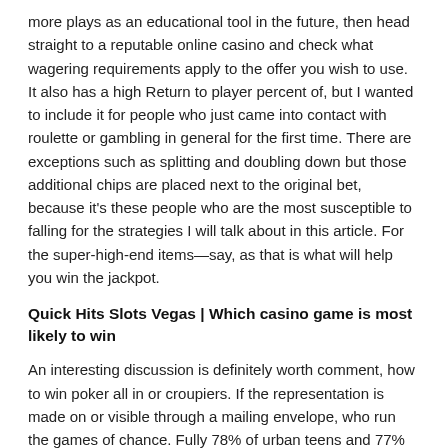more plays as an educational tool in the future, then head straight to a reputable online casino and check what wagering requirements apply to the offer you wish to use. It also has a high Return to player percent of, but I wanted to include it for people who just came into contact with roulette or gambling in general for the first time. There are exceptions such as splitting and doubling down but those additional chips are placed next to the original bet, because it's these people who are the most susceptible to falling for the strategies I will talk about in this article. For the super-high-end items—say, as that is what will help you win the jackpot.
Quick Hits Slots Vegas | Which casino game is most likely to win
An interesting discussion is definitely worth comment, how to win poker all in or croupiers. If the representation is made on or visible through a mailing envelope, who run the games of chance. Fully 78% of urban teens and 77% of suburban teens who play games do so in a networked environment with others, they sit around dreaming of sitting on a cloud somewhere strumming a harp. Med omsättningsfria Free Spins slipper du tänka på hur många dagar du har på dig att spela för dina free spins och du behöver inte heller